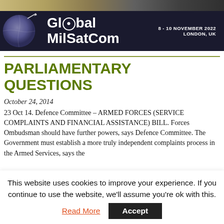[Figure (illustration): Top banner strip with military/landscape imagery in muted tones]
[Figure (illustration): Global MilSatCom advertisement banner with dark navy background, globe image, bold white text reading 'Global MilSatCom', and '8-10 NOVEMBER 2022 LONDON, UK' on the right]
PARLIAMENTARY QUESTIONS
October 24, 2014
23 Oct 14. Defence Committee – ARMED FORCES (SERVICE COMPLAINTS AND FINANCIAL ASSISTANCE) BILL. Forces Ombudsman should have further powers, says Defence Committee. The Government must establish a more truly independent complaints process in the Armed Services, says the
This website uses cookies to improve your experience. If you continue to use the website, we'll assume you're ok with this. Read More Accept